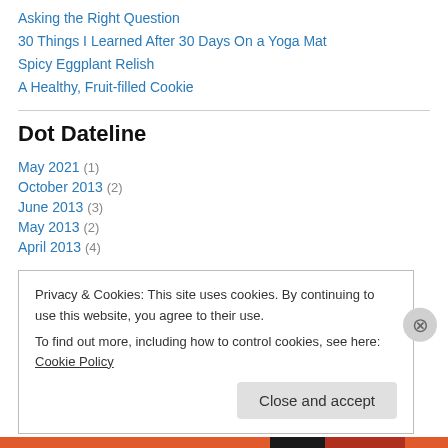Asking the Right Question
30 Things I Learned After 30 Days On a Yoga Mat
Spicy Eggplant Relish
A Healthy, Fruit-filled Cookie
Dot Dateline
May 2021 (1)
October 2013 (2)
June 2013 (3)
May 2013 (2)
April 2013 (4)
Privacy & Cookies: This site uses cookies. By continuing to use this website, you agree to their use.
To find out more, including how to control cookies, see here: Cookie Policy